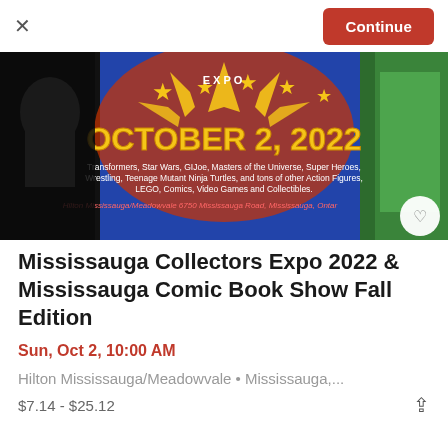[Figure (screenshot): Continue button and close (X) top bar of a mobile app event listing screen]
[Figure (illustration): Event banner image for Mississauga Collectors Expo 2022 showing comic/pop culture characters (Darth Vader, Hulk, Ninja Turtle) with text: EXPO, OCTOBER 2, 2022, and listing Transformers, Star Wars, GIJoe, Masters of the Universe, Super Heroes, Wrestling, Teenage Mutant Ninja Turtles, and tons of other Action Figures, LEGO, Comics, Video Games and Collectibles. Hilton Mississauga/Meadowvale 6750 Mississauga Road, Mississauga, Ontario]
Mississauga Collectors Expo 2022 & Mississauga Comic Book Show Fall Edition
Sun, Oct 2, 10:00 AM
Hilton Mississauga/Meadowvale • Mississauga,...
$7.14 - $25.12